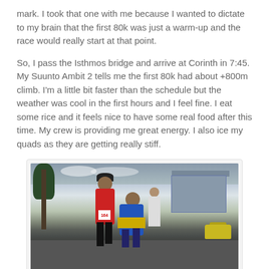mark. I took that one with me because I wanted to dictate to my brain that the first 80k was just a warm-up and the race would really start at that point.
So, I pass the Isthmos bridge and arrive at Corinth in 7:45. My Suunto Ambit 2 tells me the first 80k had about +800m climb. I'm a little bit faster than the schedule but the weather was cool in the first hours and I feel fine. I eat some rice and it feels nice to have some real food after this time. My crew is providing me great energy. I also ice my quads as they are getting really stiff.
[Figure (photo): A runner wearing a red top, black shorts with a race bib (number 164), and a black cap, being assisted by a support crew member in a blue and yellow top. They are on a road. A tree is visible on the left, and a blue-framed structure/building is in the background. A yellow car is on the right.]